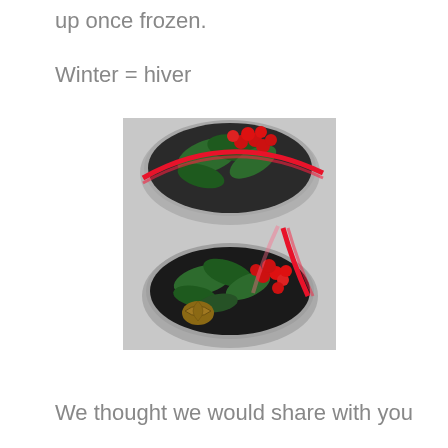up once frozen.
Winter = hiver
[Figure (photo): Two round metal tins decorated with holly leaves, red berries, and a red ribbon, photographed from above. The bottom tin also contains a walnut.]
We thought we would share with you